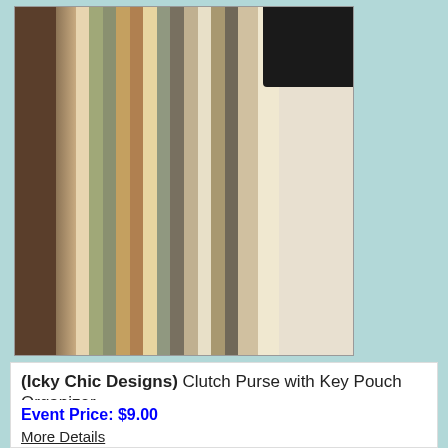[Figure (photo): Photo of clutch purse with striped fabric and dark black accent, showing key pouch organizer product]
(Icky Chic Designs) Clutch Purse with Key Pouch Organizer
Original Price: $18.99
Shipping: Free
Event Price: $9.00
More Details
Remember:
Shipping charges do not change.
All transactions will take place through the Etsy shop featuring the item you purchased.